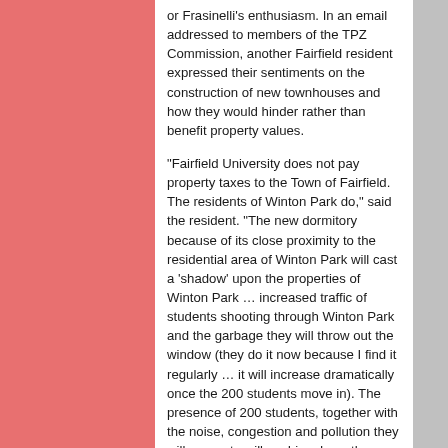or Frasinelli's enthusiasm. In an email addressed to members of the TPZ Commission, another Fairfield resident expressed their sentiments on the construction of new townhouses and how they would hinder rather than benefit property values.
“Fairfield University does not pay property taxes to the Town of Fairfield. The residents of Winton Park do,” said the resident. “The new dormitory because of its close proximity to the residential area of Winton Park will cast a ‘shadow’ upon the properties of Winton Park … increased traffic of students shooting through Winton Park and the garbage they will throw out the window (they do it now because I find it regularly … it will increase dramatically once the 200 students move in). The presence of 200 students, together with the noise, congestion and pollution they will generate will … drive down the value of homes in Winton Park.”
Frasinelli addressed the positive relationship between Fairfield University and town